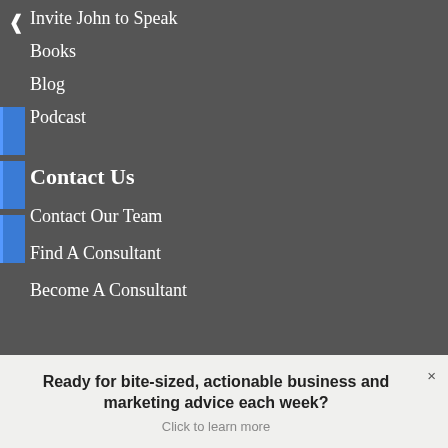Invite John to Speak
Books
Blog
Podcast
Contact Us
Contact Our Team
Find A Consultant
Become A Consultant
Ready for bite-sized, actionable business and marketing advice each week?
Click to learn more